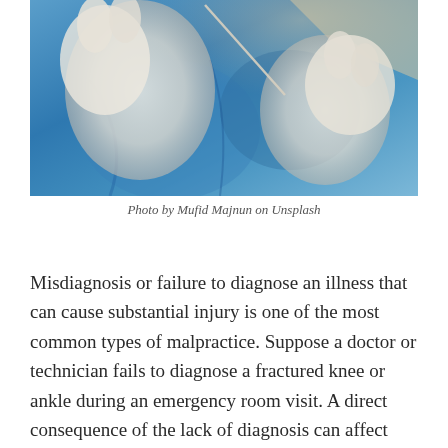[Figure (photo): A person in blue medical gown and white gloves holding a medical swab or instrument, close-up view]
Photo by Mufid Majnun on Unsplash
Misdiagnosis or failure to diagnose an illness that can cause substantial injury is one of the most common types of malpractice. Suppose a doctor or technician fails to diagnose a fractured knee or ankle during an emergency room visit. A direct consequence of the lack of diagnosis can affect